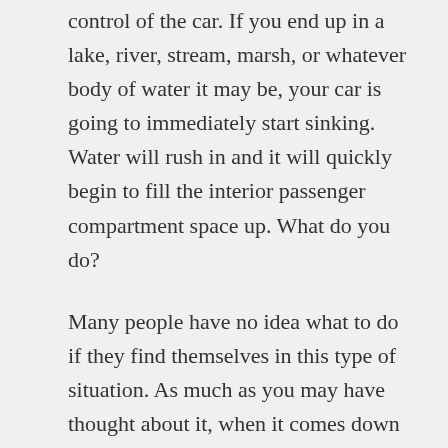control of the car. If you end up in a lake, river, stream, marsh, or whatever body of water it may be, your car is going to immediately start sinking. Water will rush in and it will quickly begin to fill the interior passenger compartment space up. What do you do?
Many people have no idea what to do if they find themselves in this type of situation. As much as you may have thought about it, when it comes down to it you're likely panicking and not